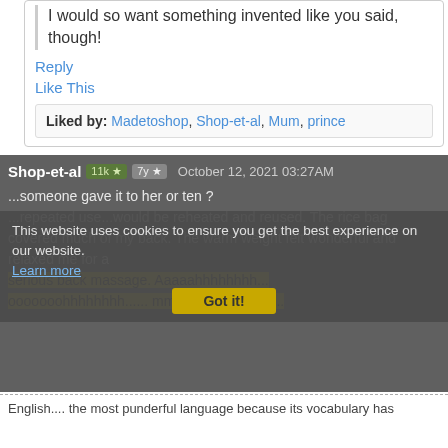I would so want something invented like you said, though!
Reply
Like This
Liked by: Madetoshop, Shop-et-al, Mum, prince
Shop-et-al  11k ★  7y ★  October 12, 2021 03:27AM
This website uses cookies to ensure you get the best experience on our website. Learn more
Got it!
...someone gave it to her or ten ? ...repeated use...would be reheated and reused. The rice bag covered much of my back. The warm weight felt wonderful and relaxed me for a serious back massage. Aaaaahhhhhhhh... ooooooohhhhhhhh...... mmmmmmmmm.......
English.... the most punderful language because its vocabulary has